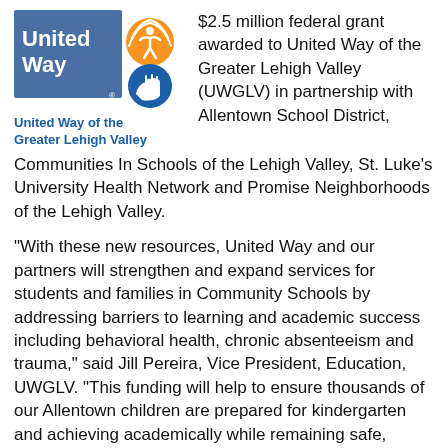[Figure (logo): United Way of the Greater Lehigh Valley logo — blue rectangle with 'United Way' text in white, orange arc/sunburst icon, blue hand-and-figure icon. Below: bold blue text 'United Way of the Greater Lehigh Valley']
$2.5 million federal grant awarded to United Way of the Greater Lehigh Valley (UWGLV) in partnership with Allentown School District, Communities In Schools of the Lehigh Valley, St. Luke's University Health Network and Promise Neighborhoods of the Lehigh Valley.
“With these new resources, United Way and our partners will strengthen and expand services for students and families in Community Schools by addressing barriers to learning and academic success including behavioral health, chronic absenteeism and trauma,” said Jill Pereira, Vice President, Education, UWGLV. “This funding will help to ensure thousands of our Allentown children are prepared for kindergarten and achieving academically while remaining safe, healthy and supported by engaged parents and caregivers.”